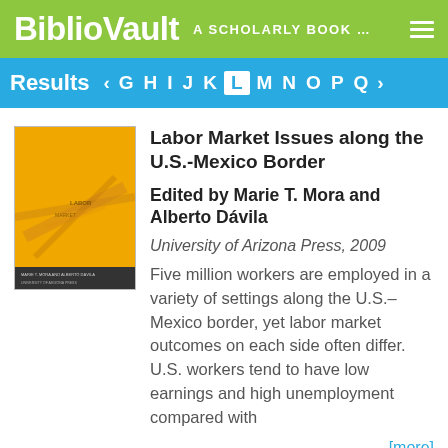BiblioVault  A SCHOLARLY BOOK ...
Results  < G H I J K L M N O P Q >
[Figure (illustration): Book cover for 'Labor Market Issues along the U.S.-Mexico Border', yellow/orange background with abstract line design]
Labor Market Issues along the U.S.-Mexico Border
Edited by Marie T. Mora and Alberto Dávila
University of Arizona Press, 2009
Five million workers are employed in a variety of settings along the U.S.–Mexico border, yet labor market outcomes on each side often differ. U.S. workers tend to have low earnings and high unemployment compared with
[more]